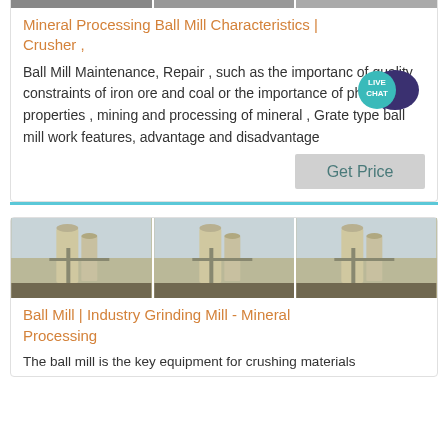[Figure (photo): Three industrial mineral processing images in a row (partial, cropped at top)]
Mineral Processing Ball Mill Characteristics | Crusher ,
Ball Mill Maintenance, Repair , such as the importance of quality constraints of iron ore and coal or the importance of physical properties , mining and processing of mineral , Grate type ball mill work features, advantage and disadvantage
[Figure (other): Live Chat badge/button]
Get Price
[Figure (photo): Three industrial silo/ball mill images in a row]
Ball Mill | Industry Grinding Mill - Mineral Processing
The ball mill is the key equipment for crushing materials